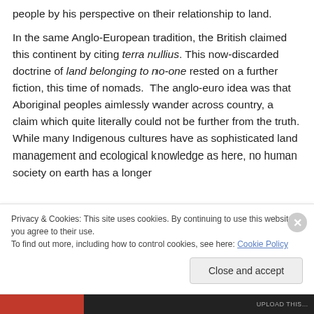people by his perspective on their relationship to land.
In the same Anglo-European tradition, the British claimed this continent by citing terra nullius. This now-discarded doctrine of land belonging to no-one rested on a further fiction, this time of nomads.  The anglo-euro idea was that Aboriginal peoples aimlessly wander across country, a claim which quite literally could not be further from the truth. While many Indigenous cultures have as sophisticated land management and ecological knowledge as here, no human society on earth has a longer
Privacy & Cookies: This site uses cookies. By continuing to use this website, you agree to their use.
To find out more, including how to control cookies, see here: Cookie Policy
Close and accept